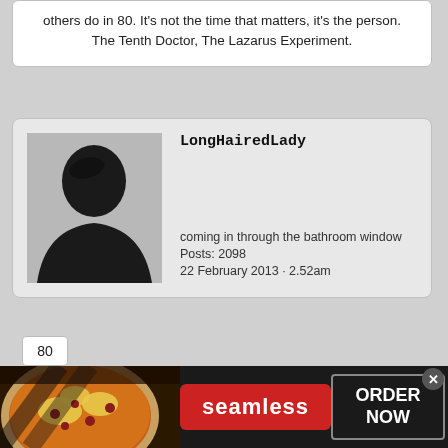others do in 80. It's not the time that matters, it's the person. The Tenth Doctor, The Lazarus Experiment.
LongHairedLady
coming in through the bathroom window
Posts: 2098
22 February 2013 · 2.52am
80
Alan Klein, a.k.a. mucho douche-bag?
[Figure (infographic): Seamless food ordering advertisement banner with pizza image, Seamless logo button, and ORDER NOW button]